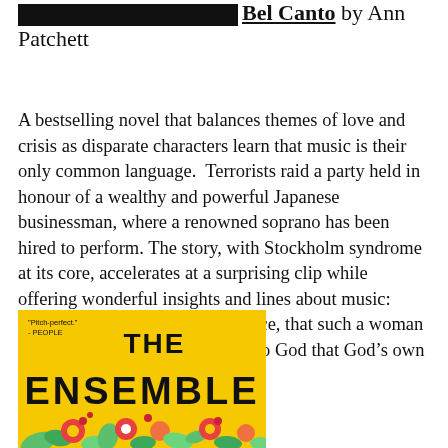Bel Canto by Ann Patchett
A bestselling novel that balances themes of love and crisis as disparate characters learn that music is their only common language.  Terrorists raid a party held in honour of a wealthy and powerful Japanese businessman, where a renowned soprano has been hired to perform. The story, with Stockholm syndrome at its core, accelerates at a surprising clip while offering wonderful insights and lines about music: “Never had he thought, never once, that such a woman existed, one who stood so close to God that God’s own voice poured from her.”
[Figure (photo): Book cover of 'The Ensemble' with yellow background, bold black title text, and colorful floral illustration at the bottom. Quote 'Pitch-perfect.' - PEOPLE at top left.]